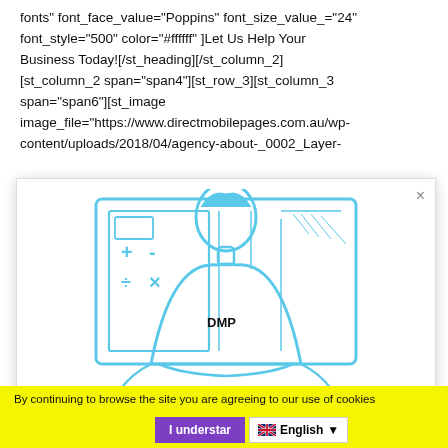fonts" font_face_value="Poppins" font_size_value_="24" font_style="500" color="#ffffff" ]Let Us Help Your Business Today![/st_heading][/st_column_2] [st_column_2 span="span4"][st_row_3][st_column_3 span="span6"][st_image image_file="https://www.directmobilepages.com.au/wp-content/uploads/2018/04/agency-about-_0002_Layer-
[Figure (illustration): Line art illustration of a person viewed from behind sitting at a computer screen, drawn in light blue outlines. The person has a shirt with 'DMP' written on the back. The monitor shows a calculator interface with +, -, ÷, × symbols.]
By continuing to browse the site you are agreeing to our use of cookies
I understand   🇬🇧 English ▼